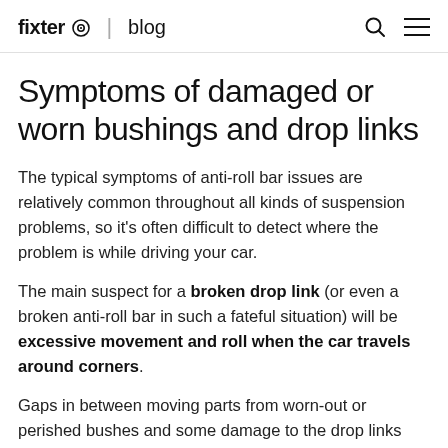fixter | blog
Symptoms of damaged or worn bushings and drop links
The typical symptoms of anti-roll bar issues are relatively common throughout all kinds of suspension problems, so it’s often difficult to detect where the problem is while driving your car.
The main suspect for a broken drop link (or even a broken anti-roll bar in such a fateful situation) will be excessive movement and roll when the car travels around corners.
Gaps in between moving parts from worn-out or perished bushes and some damage to the drop links can cause the following symptoms.